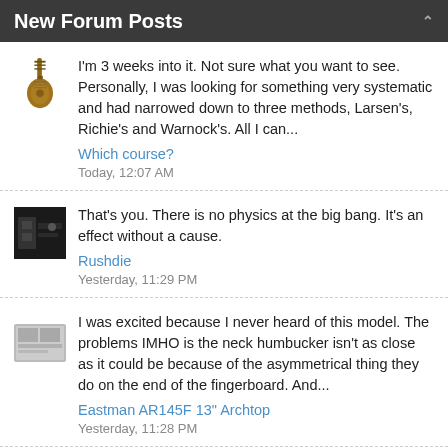New Forum Posts
I'm 3 weeks into it. Not sure what you want to see. Personally, I was looking for something very systematic and had narrowed down to three methods, Larsen's, Richie's and Warnock's. All I can...
Which course?
Today, 12:07 AM
That's you. There is no physics at the big bang. It's an effect without a cause.
Rushdie
Yesterday, 11:29 PM
I was excited because I never heard of this model. The problems IMHO is the neck humbucker isn't as close as it could be because of the asymmetrical thing they do on the end of the fingerboard. And...
Eastman AR145F 13" Archtop
Yesterday, 11:28 PM